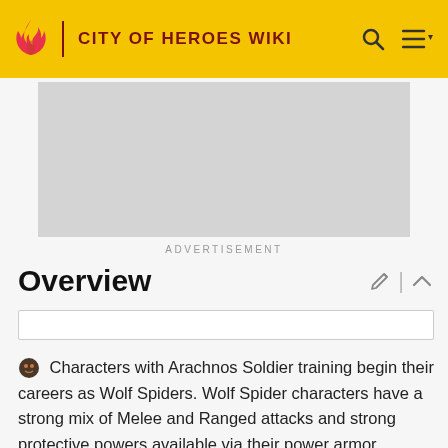CITY OF HEROES WIKI
[Figure (screenshot): Advertisement placeholder (grey rectangle)]
ADVERTISEMENT
Overview
Characters with Arachnos Soldier training begin their careers as Wolf Spiders. Wolf Spider characters have a strong mix of Melee and Ranged attacks and strong protective powers available via their power armor. Beginning at level 24, the player has to choose whether he will progress down the "Crab Spider" or "Bane Spider" path. Crab Spiders gain access to the "backpack" and the